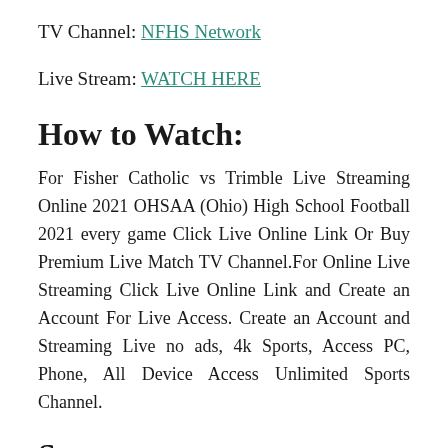TV Channel: NFHS Network
Live Stream: WATCH HERE
How to Watch:
For Fisher Catholic vs Trimble Live Streaming Online 2021 OHSAA (Ohio) High School Football 2021 every game Click Live Online Link Or Buy Premium Live Match TV Channel.For Online Live Streaming Click Live Online Link and Create an Account For Live Access. Create an Account and Streaming Live no ads, 4k Sports, Access PC, Phone, All Device Access Unlimited Sports Channel.
Season: